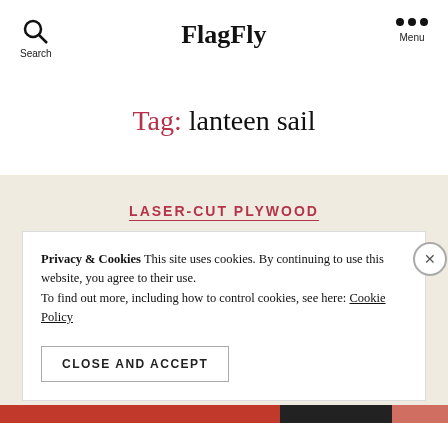FlagFly
Tag: lanteen sail
LASER-CUT PLYWOOD
Privacy & Cookies This site uses cookies. By continuing to use this website, you agree to their use. To find out more, including how to control cookies, see here: Cookie Policy
CLOSE AND ACCEPT